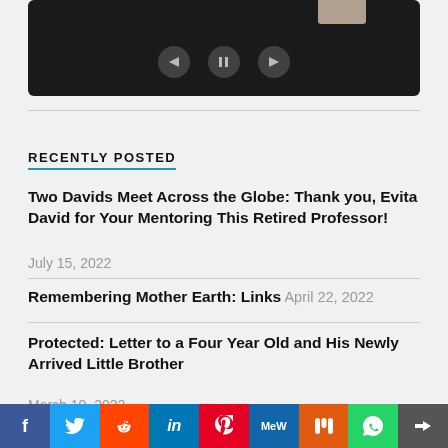[Figure (screenshot): Video player with dark background, playback controls (back, pause, forward), and a thumbnail in the top right corner]
RECENTLY POSTED
Two Davids Meet Across the Globe: Thank you, Evita David for Your Mentoring This Retired Professor!
July 15, 2022
Remembering Mother Earth: Links April 22, 2022
Protected: Letter to a Four Year Old and His Newly Arrived Little Brother
March 19, 2022
[Figure (other): Social sharing bar with icons for Facebook, Twitter, Reddit, LinkedIn, Pinterest, MeWe, Mix, WhatsApp, and More]